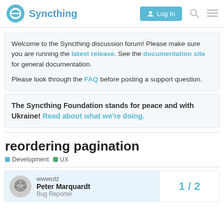Syncthing — Log In
Welcome to the Syncthing discussion forum! Please make sure you are running the latest release. See the documentation site for general documentation.

Please look through the FAQ before posting a support question.
The Syncthing Foundation stands for peace and with Ukraine! Read about what we're doing.
reordering pagination
Development  UX
wwwutz
Peter Marquardt
Bug Reporter
1 / 2